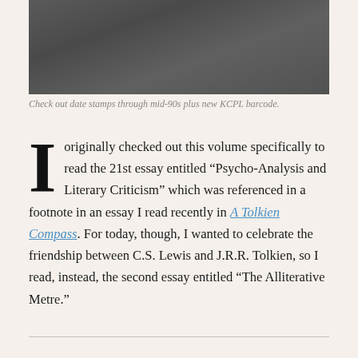[Figure (photo): Dark grey/brown textured surface showing a library book's back cover or inside page with date stamps and a KCPL barcode.]
Check out date stamps through mid-90s plus new KCPL barcode.
I originally checked out this volume specifically to read the 21st essay entitled “Psycho-Analysis and Literary Criticism” which was referenced in a footnote in an essay I read recently in A Tolkien Compass. For today, though, I wanted to celebrate the friendship between C.S. Lewis and J.R.R. Tolkien, so I read, instead, the second essay entitled “The Alliterative Metre.”